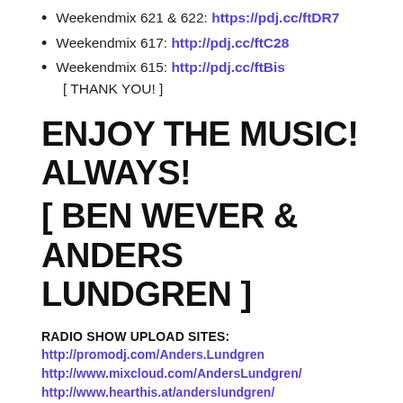Weekendmix 621 & 622: https://pdj.cc/ftDR7
Weekendmix 617: http://pdj.cc/ftC28
Weekendmix 615: http://pdj.cc/ftBis
[ THANK YOU! ]
ENJOY THE MUSIC! ALWAYS!
[ BEN WEVER & ANDERS LUNDGREN ]
RADIO SHOW UPLOAD SITES:
http://promodj.com/Anders.Lundgren
http://www.mixcloud.com/AndersLundgren/
http://www.hearthis.at/anderslundgren/
SOCIAL MEDIA:
http://www.twitter.com/totallyanders